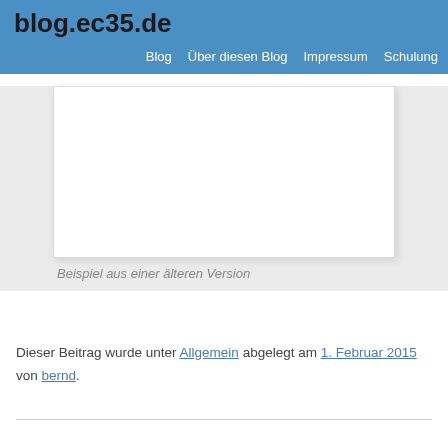blog.ec35.de
Blog  Über diesen Blog  Impressum  Schulung
[Figure (other): White rectangular image placeholder box with light border and shadow]
Beispiel aus einer älteren Version
Dieser Beitrag wurde unter Allgemein abgelegt am 1. Februar 2015 von bernd.